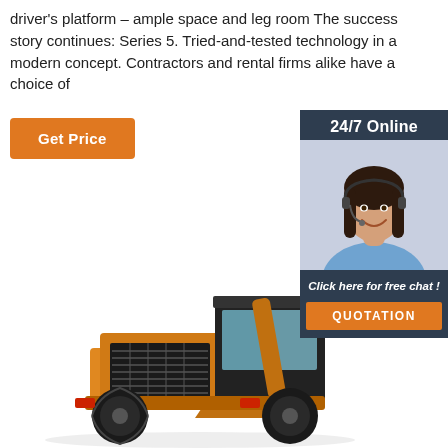driver's platform – ample space and leg room The success story continues: Series 5. Tried-and-tested technology in a modern concept. Contractors and rental firms alike have a choice of
[Figure (other): Orange 'Get Price' button]
[Figure (other): 24/7 Online customer service sidebar with photo of a smiling woman wearing a headset, 'Click here for free chat!' text, and an orange QUOTATION button]
[Figure (photo): Large yellow/orange construction wheel loader machine photographed from the side/front, showing the cab, engine hood with grille, bucket, and large black tires]